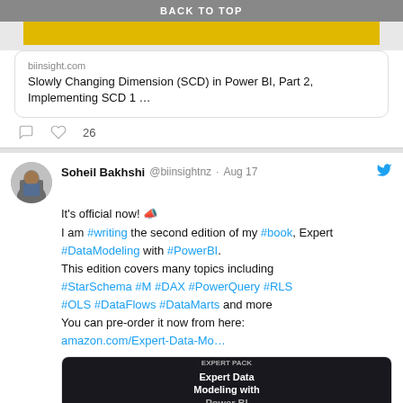BACK TO TOP
[Figure (screenshot): Yellow banner/image partial view]
biinsight.com
Slowly Changing Dimension (SCD) in Power BI, Part 2, Implementing SCD 1 …
26 likes
Soheil Bakhshi @biinsightnz · Aug 17
It's official now! 📣
I am #writing the second edition of my #book, Expert #DataModeling with #PowerBI.
This edition covers many topics including
#StarSchema #M #DAX #PowerQuery #RLS #OLS #DataFlows #DataMarts and more
You can pre-order it now from here:
amazon.com/Expert-Data-Mo…
[Figure (screenshot): Book cover for Expert Data Modeling with Power BI]